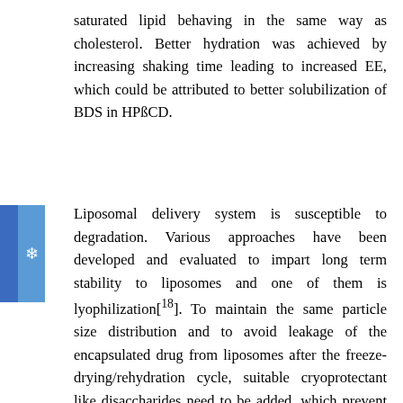saturated lipid behaving in the same way as cholesterol. Better hydration was achieved by increasing shaking time leading to increased EE, which could be attributed to better solubilization of BDS in HPßCD.
Liposomal delivery system is susceptible to degradation. Various approaches have been developed and evaluated to impart long term stability to liposomes and one of them is lyophilization[18]. To maintain the same particle size distribution and to avoid leakage of the encapsulated drug from liposomes after the freeze-drying/rehydration cycle, suitable cryoprotectant like disaccharides need to be added, which prevent fusion, aggregation and